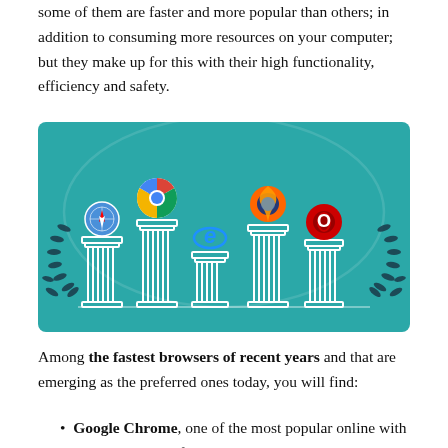some of them are faster and more popular than others; in addition to consuming more resources on your computer; but they make up for this with their high functionality, efficiency and safety.
[Figure (infographic): Infographic showing five web browser logos (Safari, Chrome, Internet Explorer, Firefox, Opera) each placed on top of a Greek column of varying height, set against a teal background with laurel wreaths on the sides.]
Among the fastest browsers of recent years and that are emerging as the preferred ones today, you will find:
Google Chrome, one of the most popular online with almost two thirds of the total